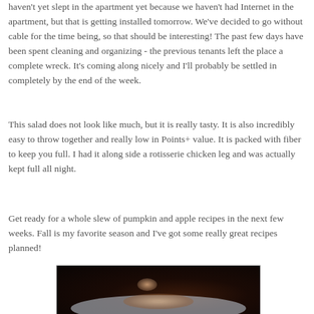haven't yet slept in the apartment yet because we haven't had Internet in the apartment, but that is getting installed tomorrow. We've decided to go without cable for the time being, so that should be interesting! The past few days have been spent cleaning and organizing - the previous tenants left the place a complete wreck. It's coming along nicely and I'll probably be settled in completely by the end of the week.
This salad does not look like much, but it is really tasty. It is also incredibly easy to throw together and really low in Points+ value. It is packed with fiber to keep you full. I had it along side a rotisserie chicken leg and was actually kept full all night.
Get ready for a whole slew of pumpkin and apple recipes in the next few weeks. Fall is my favorite season and I've got some really great recipes planned!
[Figure (photo): A dark food photo showing what appears to be a salad or dish on a light-colored plate against a dark background]